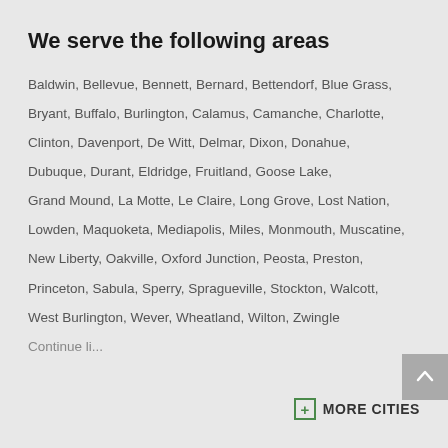We serve the following areas
Baldwin, Bellevue, Bennett, Bernard, Bettendorf, Blue Grass, Bryant, Buffalo, Burlington, Calamus, Camanche, Charlotte, Clinton, Davenport, De Witt, Delmar, Dixon, Donahue, Dubuque, Durant, Eldridge, Fruitland, Goose Lake, Grand Mound, La Motte, Le Claire, Long Grove, Lost Nation, Lowden, Maquoketa, Mediapolis, Miles, Monmouth, Muscatine, New Liberty, Oakville, Oxford Junction, Peosta, Preston, Princeton, Sabula, Sperry, Spragueville, Stockton, Walcott, West Burlington, Wever, Wheatland, Wilton, Zwingle
Continue listing...
+ MORE CITIES